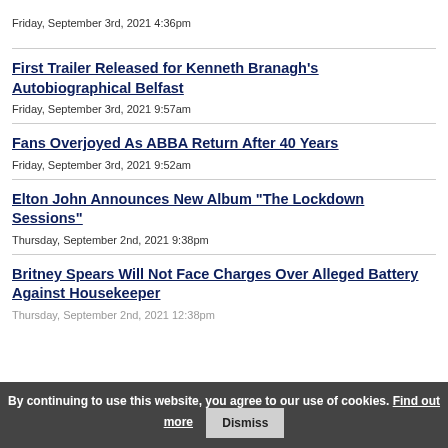Friday, September 3rd, 2021 4:36pm
First Trailer Released for Kenneth Branagh's Autobiographical Belfast
Friday, September 3rd, 2021 9:57am
Fans Overjoyed As ABBA Return After 40 Years
Friday, September 3rd, 2021 9:52am
Elton John Announces New Album "The Lockdown Sessions"
Thursday, September 2nd, 2021 9:38pm
Britney Spears Will Not Face Charges Over Alleged Battery Against Housekeeper
Thursday, September 2nd, 2021 12:38pm
By continuing to use this website, you agree to our use of cookies. Find out more Dismiss